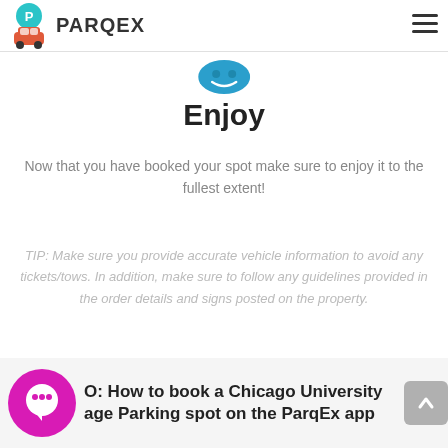PARQEX
[Figure (logo): Teal/blue circular icon with a thumbs-up or smiley shape]
Enjoy
Now that you have booked your spot make sure to enjoy it to the fullest extent!
TIP: Make sure you provide accurate vehicle information to avoid any tickets/tows. In addition, make sure to follow any guidelines provided in the order details and signs posted on the property.
O: How to book a Chicago University age Parking spot on the ParqEx app